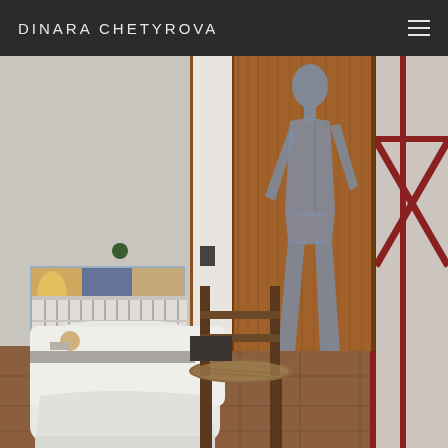DINARA CHETYROVA
[Figure (photo): Interior room photo showing a wooden paneled wardrobe or door with a painted blue figure of a standing nude person (resembling a classical statue like Michelangelo's David). To the left is a decorative cabinet with painted scenes, a white radiator beneath it, and various objects on top. In the foreground are two chairs: a white slip-covered armchair and a rustic wooden chair with a woven seat. The room has terracotta tile flooring and red-framed windows or panels on the right.]